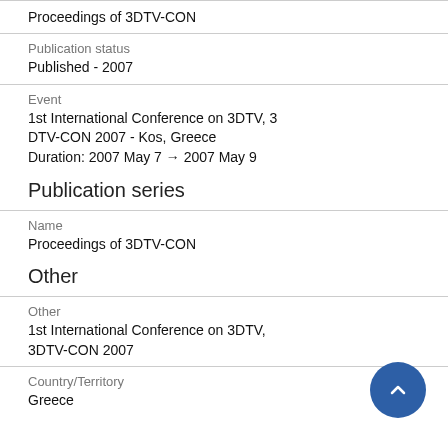Proceedings of 3DTV-CON
Publication status
Published - 2007
Event
1st International Conference on 3DTV, 3DTV-CON 2007 - Kos, Greece
Duration: 2007 May 7 → 2007 May 9
Publication series
Name
Proceedings of 3DTV-CON
Other
Other
1st International Conference on 3DTV, 3DTV-CON 2007
Country/Territory
Greece